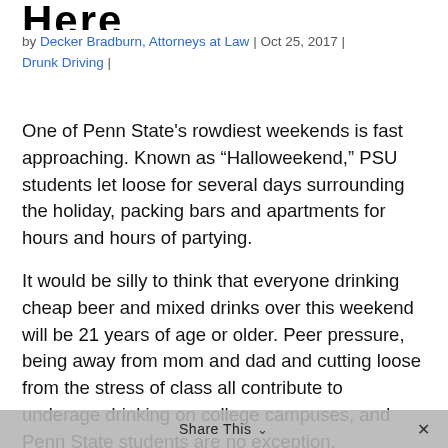Here
by Decker Bradburn, Attorneys at Law | Oct 25, 2017 | Drunk Driving |
One of Penn State's rowdiest weekends is fast approaching. Known as “Halloweekend,” PSU students let loose for several days surrounding the holiday, packing bars and apartments for hours and hours of partying.
It would be silly to think that everyone drinking cheap beer and mixed drinks over this weekend will be 21 years of age or older. Peer pressure, being away from mom and dad and cutting loose from the stress of class all contribute to underage drinking on college campuses, and Penn State students are no exception.